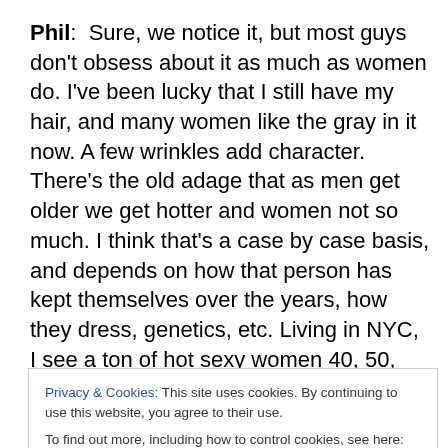Phil:  Sure, we notice it, but most guys don't obsess about it as much as women do. I've been lucky that I still have my hair, and many women like the gray in it now. A few wrinkles add character. There's the old adage that as men get older we get hotter and women not so much. I think that's a case by case basis, and depends on how that person has kept themselves over the years, how they dress, genetics, etc. Living in NYC, I see a ton of hot sexy women 40, 50, and older. I also see a ton of guys in their 20's and 30's who look like crap and will age very badly
Privacy & Cookies: This site uses cookies. By continuing to use this website, you agree to their use.
To find out more, including how to control cookies, see here: Cookie Policy
but as human beings I think we all do. It's up to that